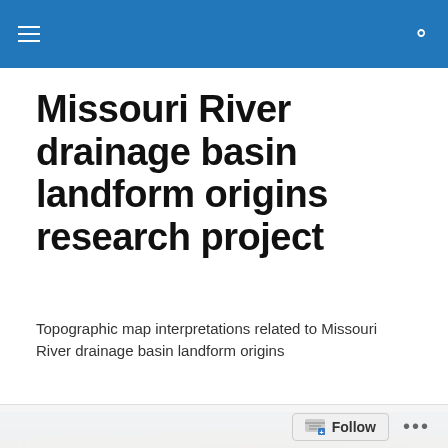Missouri River drainage basin landform origins research project — navigation bar
Missouri River drainage basin landform origins research project
Topographic map interpretations related to Missouri River drainage basin landform origins
[Figure (photo): Aerial or riverside photograph showing a land mass or peninsula jutting into a body of water, with bluffs or elevated terrain visible in the background]
Rosebud Creek- Rock Creek drainage divide area landform origins
Follow   •••